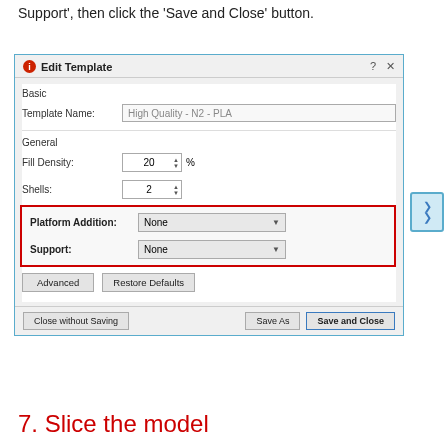Support', then click the 'Save and Close' button.
[Figure (screenshot): Edit Template dialog box showing Basic section with Template Name 'High Quality - N2 - PLA', General section with Fill Density: 20%, Shells: 2, and a red-highlighted section showing Platform Addition: None and Support: None dropdowns. Bottom buttons: Close without Saving, Save As, Save and Close (highlighted in blue border).]
7. Slice the model